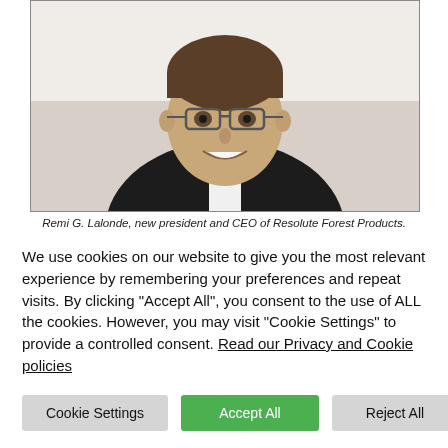[Figure (photo): Headshot portrait of Remi G. Lalonde, a man wearing glasses and a dark suit, smiling, against a white background.]
Remi G. Lalonde, new president and CEO of Resolute Forest Products.
We use cookies on our website to give you the most relevant experience by remembering your preferences and repeat visits. By clicking "Accept All", you consent to the use of ALL the cookies. However, you may visit "Cookie Settings" to provide a controlled consent. Read our Privacy and Cookie policies
Cookie Settings | Accept All | Reject All